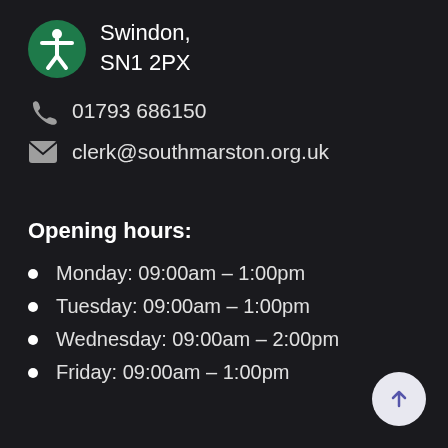Swindon, SN1 2PX
01793 686150
clerk@southmarston.org.uk
Opening hours:
Monday: 09:00am – 1:00pm
Tuesday: 09:00am – 1:00pm
Wednesday: 09:00am – 2:00pm
Friday: 09:00am – 1:00pm